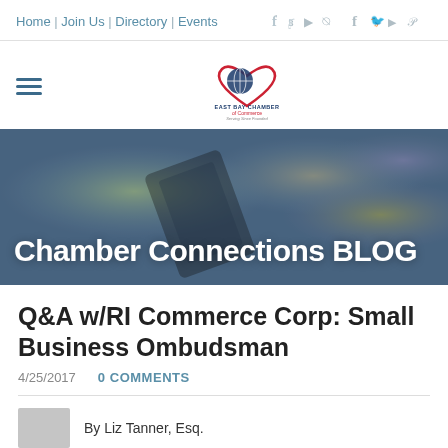Home | Join Us | Directory | Events
[Figure (logo): East Bay Chamber of Commerce logo with heart and globe icon]
[Figure (photo): Hero banner photo of a smartphone being held with bokeh background lights]
Chamber Connections BLOG
Q&A w/RI Commerce Corp: Small Business Ombudsman
4/25/2017   0 COMMENTS
By Liz Tanner, Esq.